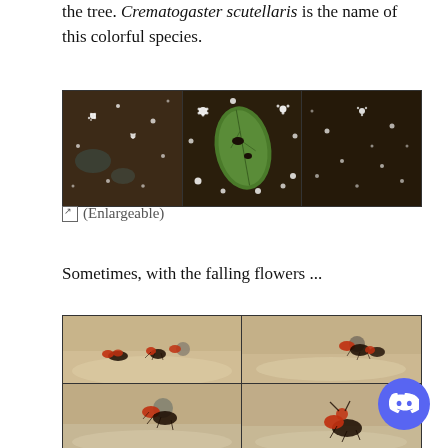the tree. Crematogaster scutellaris is the name of this colorful species.
[Figure (photo): Three-panel composite photo showing white flowers/petals on dark bark surfaces and a green leaf, likely from Crematogaster scutellaris tree environment.]
(Enlargeable)
Sometimes, with the falling flowers ...
[Figure (photo): Four-panel 2x2 grid of macro photographs showing red and black ants (Crematogaster scutellaris) on sandy/stone surface, appearing to carry or interact with objects.]